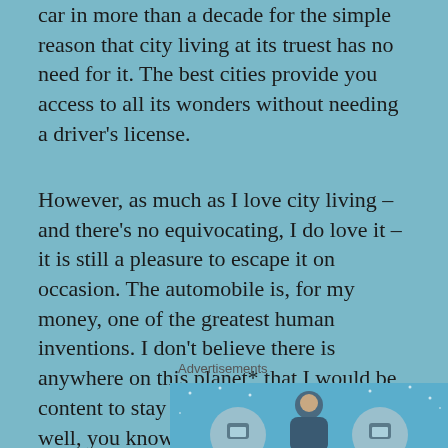car in more than a decade for the simple reason that city living at its truest has no need for it. The best cities provide you access to all its wonders without needing a driver's license.
However, as much as I love city living – and there's no equivocating, I do love it – it is still a pleasure to escape it on occasion. The automobile is, for my money, one of the greatest human inventions. I don't believe there is anywhere on this planet* that I would be content to stay forever. The road is… well, you know the rest.
Advertisements
[Figure (illustration): Advertisement banner with light blue background showing circular icons and a central figure representing people or characters]